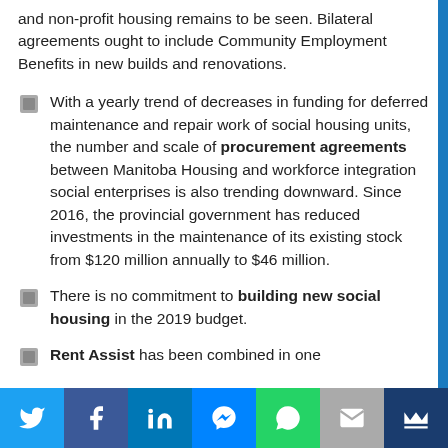and non-profit housing remains to be seen. Bilateral agreements ought to include Community Employment Benefits in new builds and renovations.
With a yearly trend of decreases in funding for deferred maintenance and repair work of social housing units, the number and scale of procurement agreements between Manitoba Housing and workforce integration social enterprises is also trending downward. Since 2016, the provincial government has reduced investments in the maintenance of its existing stock from $120 million annually to $46 million.
There is no commitment to building new social housing in the 2019 budget.
Rent Assist has been combined in one
Social share bar: Twitter, Facebook, LinkedIn, Messenger, WhatsApp, Email, Crown